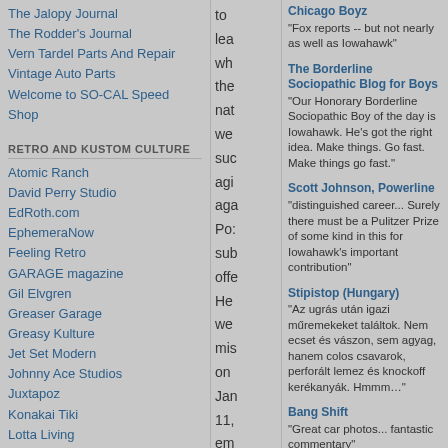The Jalopy Journal
The Rodder's Journal
Vern Tardel Parts And Repair
Vintage Auto Parts
Welcome to SO-CAL Speed Shop
RETRO AND KUSTOM CULTURE
Atomic Ranch
David Perry Studio
EdRoth.com
EphemeraNow
Feeling Retro
GARAGE magazine
Gil Elvgren
Greaser Garage
Greasy Kulture
Jet Set Modern
Johnny Ace Studios
Juxtapoz
Konakai Tiki
Lotta Living
Roadside America
to
lea
wh
the
nat
we
suc
agi
aga
Pos
sub
offe
He
we
mis
on
Jan
11,
em
his
fina
sto
dra
Chicago Boyz
"Fox reports -- but not nearly as well as Iowahawk"
The Borderline Sociopathic Blog for Boys
"Our Honorary Borderline Sociopathic Boy of the day is Iowahawk. He's got the right idea. Make things. Go fast. Make things go fast."
Scott Johnson, Powerline
"distinguished career... Surely there must be a Pulitzer Prize of some kind in this for Iowahawk's important contribution"
Stipistop (Hungary)
"Az ugrás után igazi műremekeket találtok. Nem ecset és vászon, sem agyag, hanem colos csavarok, perforált lemez és knockoff kerékanyák. Hmmm…"
Bang Shift
"Great car photos... fantastic commentary"
Too Old To Work
"I can't fathom where he gets his ideas from, unless it's a deeply disturbed mind."
John Hinderaker, Powerline
"Funniest thing I've ever read on the web? It might be. It also is the most incisive commentary on the 'Skip' Gates affair that I've seen"
Moxie
"hilarious"
Mary Katharine Ham, the Weekly Standard